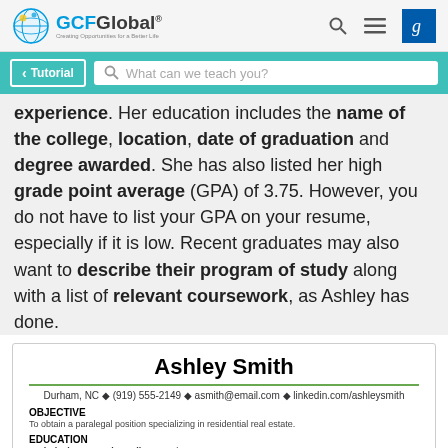GCFGlobal — Creating Opportunities for a Better Life
< Tutorial | What can we teach you?
experience. Her education includes the name of the college, location, date of graduation and degree awarded. She has also listed her high grade point average (GPA) of 3.75. However, you do not have to list your GPA on your resume, especially if it is low. Recent graduates may also want to describe their program of study along with a list of relevant coursework, as Ashley has done.
[Figure (screenshot): Resume snippet showing Ashley Smith's name, contact info (Durham, NC, (919) 555-2149, asmith@email.com, linkedin.com/ashleysmith), Objective section (To obtain a paralegal position specializing in residential real estate.), and Education section (Technical Community College, Durham, NC, August 2016).]